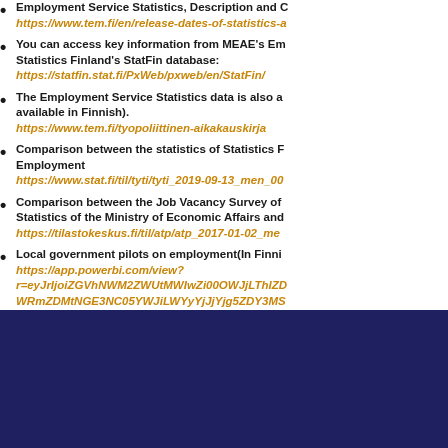Employment Service Statistics, Description and … https://www.tem.fi/en/release-dates-of-statistics-a…
You can access key information from MEAE's Em… Statistics Finland's StatFin database: https://statfin.stat.fi/PxWeb/pxweb/en/StatFin/
The Employment Service Statistics data is also a… available in Finnish). https://www.tem.fi/tyopoliittinen-aikakauskirja
Comparison between the statistics of Statistics F… Employment https://www.stat.fi/til/tyti/tyti_2019-09-13_men_00…
Comparison between the Job Vacancy Survey of … Statistics of the Ministry of Economic Affairs and… https://tilastokeskus.fi/til/atp/atp_2017-01-02_me…
Local government pilots on employment(In Finni… https://app.powerbi.com/view? r=eyJrIjoiZGVhNWM2ZWUtMWIwZi00OWJjLThIZD… WRmZDMtNGE3NC05YWJiLWYyYjJjYjg5ZDY3MS…